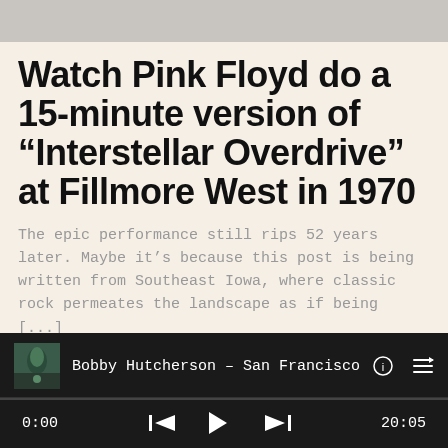[Figure (screenshot): Gray header bar at top of screen]
Watch Pink Floyd do a 15-minute version of “Interstellar Overdrive” at Fillmore West in 1970
The epic performance still rips 52 years later. Maybe it’s because this post is being written from Southeast Iowa, where classic rock permeates the landscape as if being [...]
[Figure (screenshot): Arrow symbol (continue reading arrow) pointing right]
[Figure (screenshot): Media player bar showing Bobby Hutcherson - San Francisco, with album art, info icon, queue icon, progress bar, time 0:00 / 20:05, and playback controls (skip back, play, skip forward)]